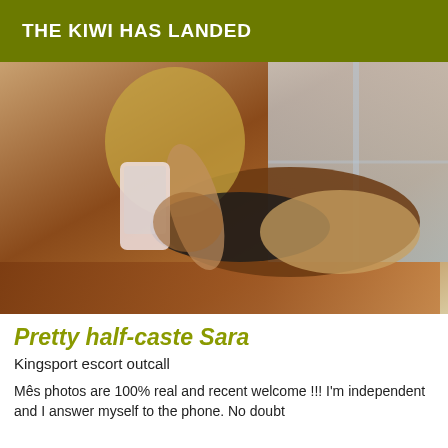THE KIWI HAS LANDED
[Figure (photo): Woman with curly hair lying on a wooden floor taking a selfie with a smartphone, wearing a black crop top and tan shorts]
Pretty half-caste Sara
Kingsport escort outcall
Mês photos are 100% real and recent welcome !!! I'm independent and I answer myself to the phone. No doubt